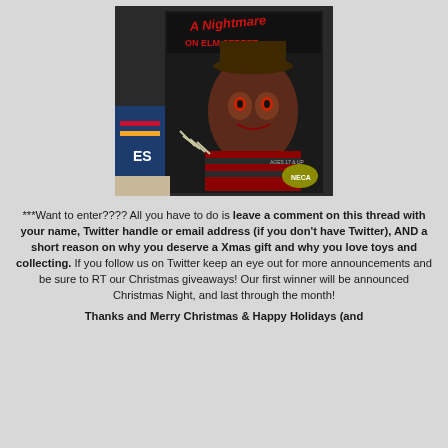[Figure (photo): Photo of A Nightmare on Elm Street NECA action figure box featuring Freddy Krueger, placed on a surface next to what appears to be sports memorabilia]
***Want to enter???? All you have to do is leave a comment on this thread with your name, Twitter handle or email address (if you don't have Twitter), AND a short reason on why you deserve a Xmas gift and why you love toys and collecting. If you follow us on Twitter keep an eye out for more announcements and be sure to RT our Christmas giveaways! Our first winner will be announced Christmas Night, and last through the month!
Thanks and Merry Christmas & Happy Holidays (and